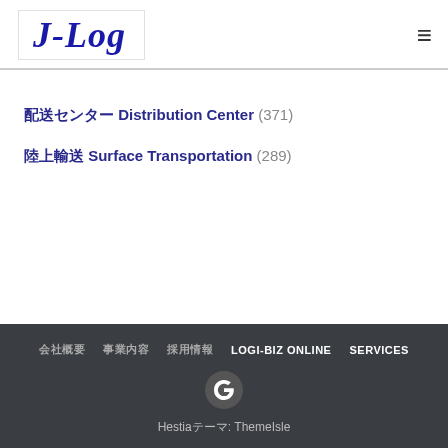J-Log
配送センター Distribution Center (371)
陸上輸送 Surface Transportation (289)
会社概要　事業内容　採用情報　LOGI-BIZ ONLINE　SERVICES
Hestiaテーマ: ThemeIsle